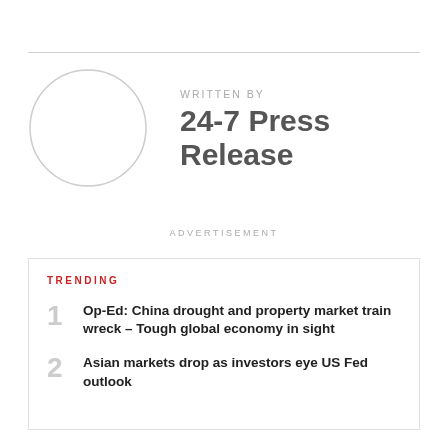WRITTEN BY
24-7 Press Release
ADVERTISEMENT
TRENDING
1 Op-Ed: China drought and property market train wreck – Tough global economy in sight
2 Asian markets drop as investors eye US Fed outlook